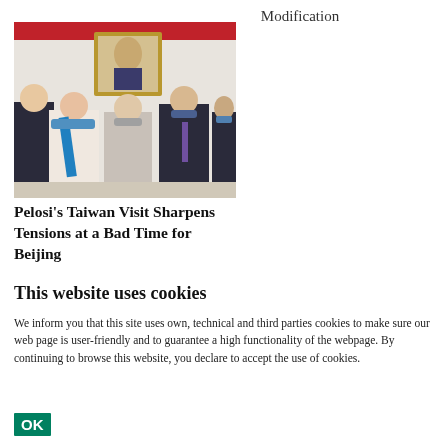Modification
[Figure (photo): Group of people wearing face masks standing indoors with a portrait painting in the background, including Nancy Pelosi and Taiwan officials]
Pelosi's Taiwan Visit Sharpens Tensions at a Bad Time for Beijing
This website uses cookies
We inform you that this site uses own, technical and third parties cookies to make sure our web page is user-friendly and to guarantee a high functionality of the webpage. By continuing to browse this website, you declare to accept the use of cookies.
OK